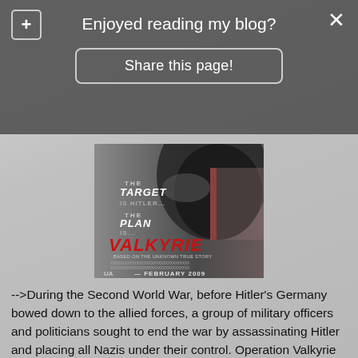Enjoyed reading my blog?
Share this page!
[Figure (photo): Valkyrie movie poster showing: THE TARGET IS HITLER... THE PLAN IS... VALKYRIE BASED ON THE UNKNOWN TRUE STORY — FEBRUARY 2009, with a close-up black and white image of a face]
-->During the Second World War, before Hitler's Germany bowed down to the allied forces, a group of military officers and politicians sought to end the war by assassinating Hitler and placing all Nazis under their control. Operation Valkyrie is the code name of the operation that will mobilize the reserve forces of the Wermacht or the German army in case of dissolution of peace and order inside Germany and all the occupied nations. This is just a front for a deeper plan concocted by the top coup plotters.